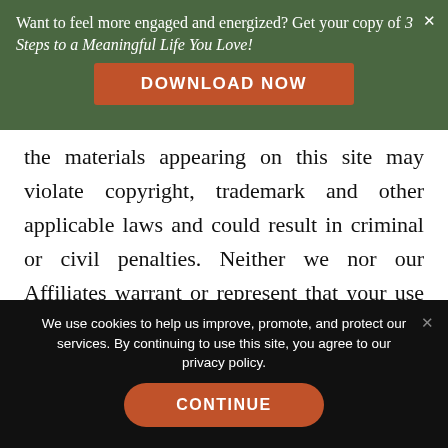Want to feel more engaged and energized? Get your copy of 3 Steps to a Meaningful Life You Love!
DOWNLOAD NOW
the materials appearing on this site may violate copyright, trademark and other applicable laws and could result in criminal or civil penalties. Neither we nor our Affiliates warrant or represent that your use of materials displayed on, or obtained through, this site will not infringe the rights of third
We use cookies to help us improve, promote, and protect our services. By continuing to use this site, you agree to our privacy policy.
CONTINUE